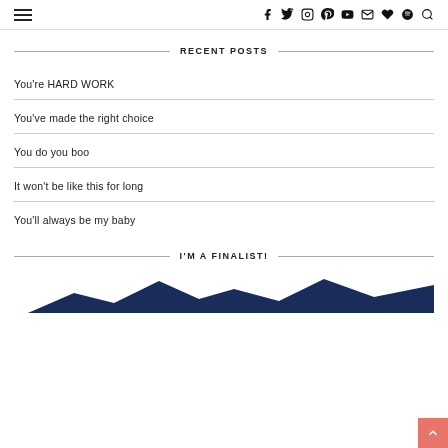≡  f  Twitter  Instagram  Pinterest  YouTube  Mail  Heart  Spotify  Search
RECENT POSTS
You're HARD WORK
You've made the right choice
You do you boo
It won't be like this for long
You'll always be my baby
I'M A FINALIST!
[Figure (illustration): Bottom portion of a mountain/hills silhouette illustration in dark navy blue]